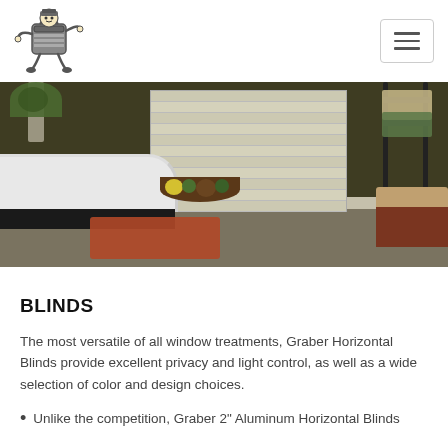Logo and navigation header
[Figure (photo): Bathroom interior with horizontal window blinds, freestanding bathtub, bowl of fruit/vegetables, rust-colored bath mat, stool/ottoman, and dark olive green walls]
BLINDS
The most versatile of all window treatments, Graber Horizontal Blinds provide excellent privacy and light control, as well as a wide selection of color and design choices.
Unlike the competition, Graber 2" Aluminum Horizontal Blinds